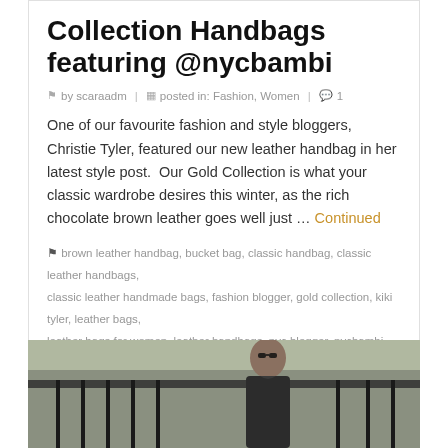Collection Handbags featuring @nycbambi
by scaraadm | posted in: Fashion, Women | 1
One of our favourite fashion and style bloggers, Christie Tyler, featured our new leather handbag in her latest style post.  Our Gold Collection is what your classic wardrobe desires this winter, as the rich chocolate brown leather goes well just … Continued
brown leather handbag, bucket bag, classic handbag, classic leather handbags, classic leather handmade bags, fashion blogger, gold collection, kiki tyler, leather bags, leather bags for women, leather handbags, nyc blogger, nycbambi, style blogger, trending leather handbags, winter inspiration, winter wardrobe
[Figure (photo): A woman wearing sunglasses and a dark jacket on a city street with iron railings in the background]